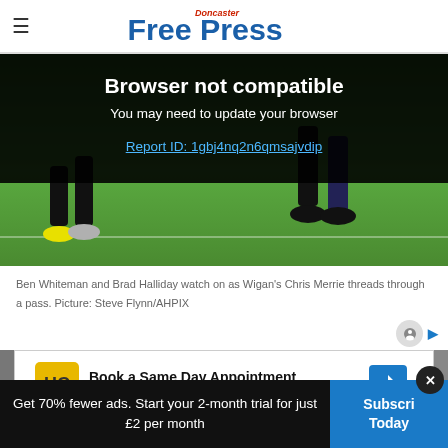Doncaster Free Press
[Figure (screenshot): Browser not compatible overlay with text: Browser not compatible, You may need to update your browser, and a link: Report ID: 1gbj4nq2n6qmsajvdip]
[Figure (photo): Football players' legs on a grass pitch, showing feet and footwear during a match]
Ben Whiteman and Brad Halliday watch on as Wigan's Chris Merrie threads through a pass. Picture: Steve Flynn/AHPIX
[Figure (screenshot): Advertisement: Book a Same Day Appointment, Hair Cuttery, with HC logo and navigation arrow icon]
Get 70% fewer ads. Start your 2-month trial for just £2 per month
Subscribe Today